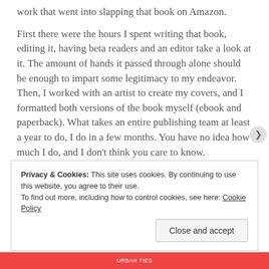work that went into slapping that book on Amazon.
First there were the hours I spent writing that book, editing it, having beta readers and an editor take a look at it. The amount of hands it passed through alone should be enough to impart some legitimacy to my endeavor. Then, I worked with an artist to create my covers, and I formatted both versions of the book myself (ebook and paperback). What takes an entire publishing team at least a year to do, I do in a few months. You have no idea how much I do, and I don't think you care to know.
[Figure (photo): Partial photo of a person, cropped at bottom of visible content area.]
Privacy & Cookies: This site uses cookies. By continuing to use this website, you agree to their use.
To find out more, including how to control cookies, see here: Cookie Policy
Close and accept
URBAN TIES